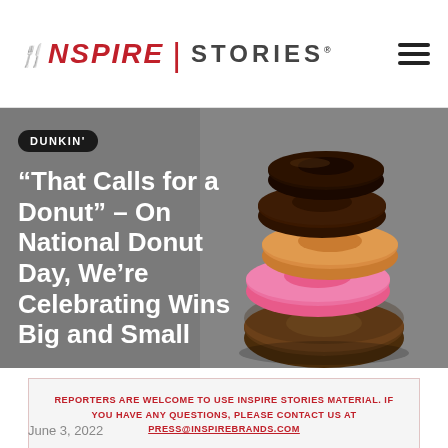INSPIRE | STORIES
[Figure (photo): Stack of assorted Dunkin' donuts (glazed, chocolate, frosted, sugar-coated) on a gray background with article headline overlaid]
“That Calls for a Donut” – On National Donut Day, We’re Celebrating Wins Big and Small
REPORTERS ARE WELCOME TO USE INSPIRE STORIES MATERIAL. IF YOU HAVE ANY QUESTIONS, PLEASE CONTACT US AT PRESS@INSPIREBRANDS.COM
June 3, 2022